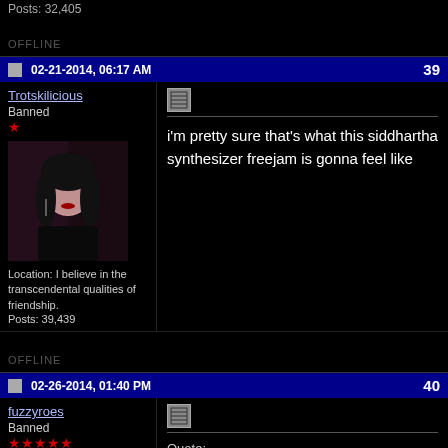Posts: 32,405
OFFLINE
02-21-2014, 06:17 AM
39
Trotskilicious
Banned
[Figure (photo): Avatar photo of a woman with black hair, red sunglasses on top of head, wearing black clothing]
Location: I believe in the transcendental qualities of friendship.
Posts: 39,439
i'm pretty sure that's what this siddhartha synthesizer freejam is gonna feel like
OFFLINE
02-26-2014, 01:40 PM
40
fuzzyroes
Banned
Quote: